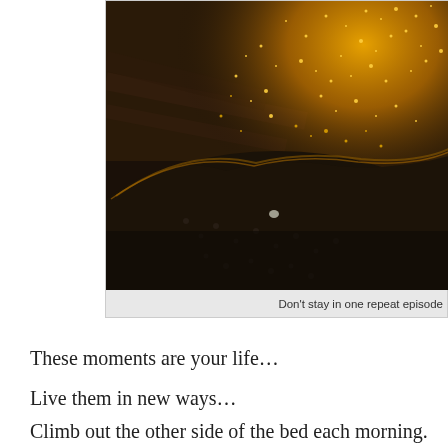[Figure (photo): Close-up photograph of dark granular material (coffee grounds or black sand) with golden/amber glittering particles sprinkled on top, creating a contrast between the dark mound and bright golden sparkles against a dark background.]
Don't stay in one repeat episode
These moments are your life…
Live them in new ways…
Climb out the other side of the bed each morning.